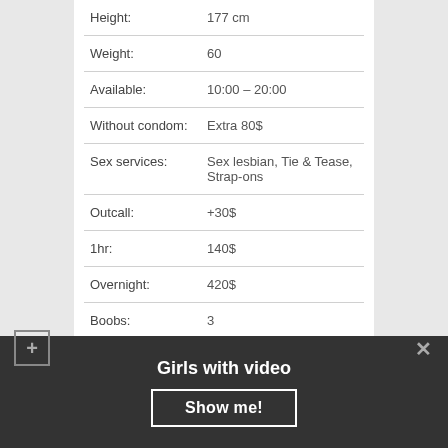| Field | Value |
| --- | --- |
| Height: | 177 cm |
| Weight: | 60 |
| Available: | 10:00 – 20:00 |
| Without condom: | Extra 80$ |
| Sex services: | Sex lesbian, Tie & Tease, Strap-ons |
| Outcall: | +30$ |
| 1hr: | 140$ |
| Overnight: | 420$ |
| Boobs: | 3 |
See phone number
Girls with video
Show me!